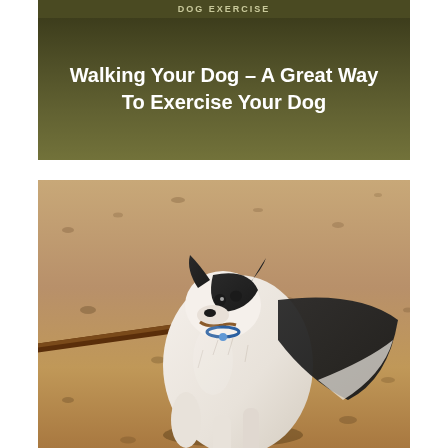DOG EXERCISE
Walking Your Dog – A Great Way To Exercise Your Dog
[Figure (photo): A black and white border collie dog running on sandy ground while carrying a large stick in its mouth]